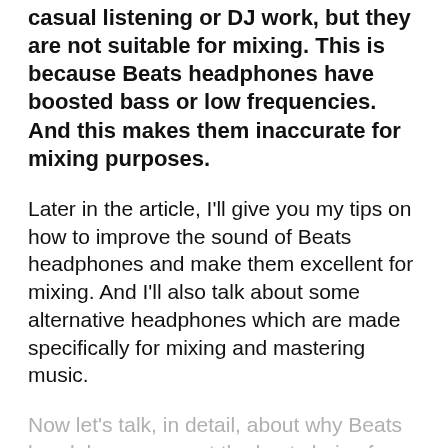casual listening or DJ work, but they are not suitable for mixing. This is because Beats headphones have boosted bass or low frequencies. And this makes them inaccurate for mixing purposes.
Later in the article, I’ll give you my tips on how to improve the sound of Beats headphones and make them excellent for mixing. And I’ll also talk about some alternative headphones which are made specifically for mixing and mastering music.
Now let’s talk, in detail, about why Beats headphones are not the best choice for